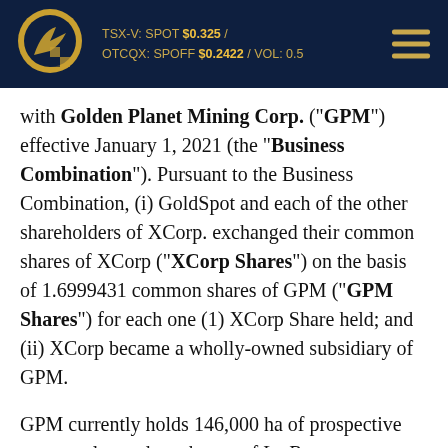TSX-V: SPOT $0.325 / OTCQX: SPOFF $0.2422 / VOL: 0.5
with Golden Planet Mining Corp. ("GPM") effective January 1, 2021 (the "Business Combination"). Pursuant to the Business Combination, (i) GoldSpot and each of the other shareholders of XCorp. exchanged their common shares of XCorp ("XCorp Shares") on the basis of 1.6999431 common shares of GPM ("GPM Shares") for each one (1) XCorp Share held; and (ii) XCorp became a wholly-owned subsidiary of GPM.
GPM currently holds 146,000 ha of prospective property located south-east of La Ronge, Saskatchewan. XCorp currently holds an option to acquire a 100% interest in the Rider Block Project located in central British Columbia, Canada, a transaction completed October 8,